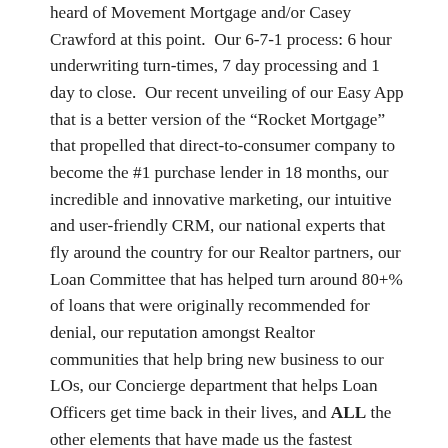heard of Movement Mortgage and/or Casey Crawford at this point.  Our 6-7-1 process: 6 hour underwriting turn-times, 7 day processing and 1 day to close.  Our recent unveiling of our Easy App that is a better version of the “Rocket Mortgage” that propelled that direct-to-consumer company to become the #1 purchase lender in 18 months, our incredible and innovative marketing, our intuitive and user-friendly CRM, our national experts that fly around the country for our Realtor partners, our Loan Committee that has helped turn around 80+% of loans that were originally recommended for denial, our reputation amongst Realtor communities that help bring new business to our LOs, our Concierge department that helps Loan Officers get time back in their lives, and ALL the other elements that have made us the fastest growing and most innovative mortgage company in the country.